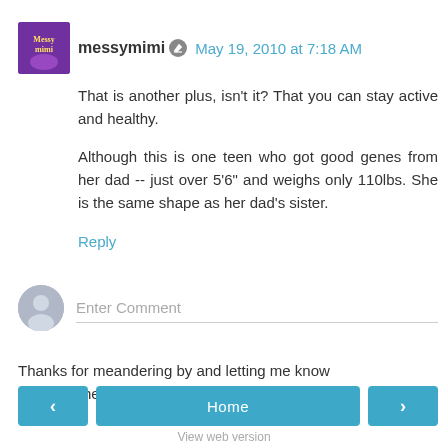[Figure (photo): Avatar thumbnail image for user messymimi - purple/gold decorative image]
messymimi  May 19, 2010 at 7:18 AM
That is another plus, isn't it? That you can stay active and healthy.
Although this is one teen who got good genes from her dad -- just over 5'6" and weighs only 110lbs. She is the same shape as her dad's sister.
Reply
[Figure (illustration): Gray user silhouette avatar icon for comment input]
Enter Comment
Thanks for meandering by and letting me know you were here!
< Home >